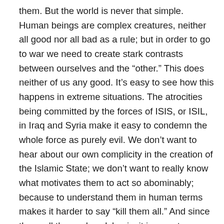them. But the world is never that simple. Human beings are complex creatures, neither all good nor all bad as a rule; but in order to go to war we need to create stark contrasts between ourselves and the “other.” This does neither of us any good. It’s easy to see how this happens in extreme situations. The atrocities being committed by the forces of ISIS, or ISIL, in Iraq and Syria make it easy to condemn the whole force as purely evil. We don’t want to hear about our own complicity in the creation of the Islamic State; we don’t want to really know what motivates them to act so abominably; because to understand them in human terms makes it harder to say “kill them all.” And since they call themselves Islamic, it is easy to extend that to all Islam and all Muslims and all those who might look Muslim and to all those who come from places with beliefs and customs and ways of being that are different from our